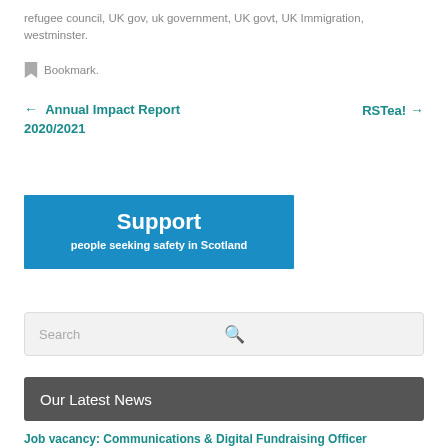refugee council, UK gov, uk government, UK govt, UK Immigration, westminster.
Bookmark.
← Annual Impact Report 2020/2021
RSTea! →
[Figure (other): Blue banner reading 'Support people seeking safety in Scotland']
Search
Our Latest News
Job vacancy: Communications & Digital Fundraising Officer